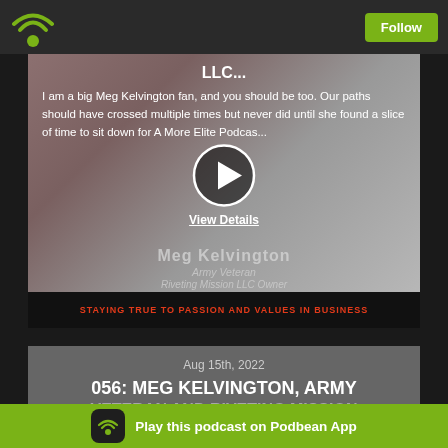[Figure (screenshot): Podbean app top navigation bar with green wifi/podcast logo on left and green Follow button on right]
[Figure (screenshot): Podcast episode video thumbnail showing Meg Kelvington, Army Veteran and Riveting Mission LLC Owner, with play button overlay and View Details link. Red bar at bottom reads STAYING TRUE TO PASSION AND VALUES IN BUSINESS]
LLC...
I am a big Meg Kelvington fan, and you should be too. Our paths should have crossed multiple times but never did until she found a slice of time to sit down for A More Elite Podcas...
Meg Kelvington
Army Veteran
Riveting Mission LLC Owner
View Details
STAYING TRUE TO PASSION AND VALUES IN BUSINESS
Aug 15th, 2022
056: MEG KELVINGTON, ARMY
VETERAN AND RIVETING MISSION
Play this podcast on Podbean App